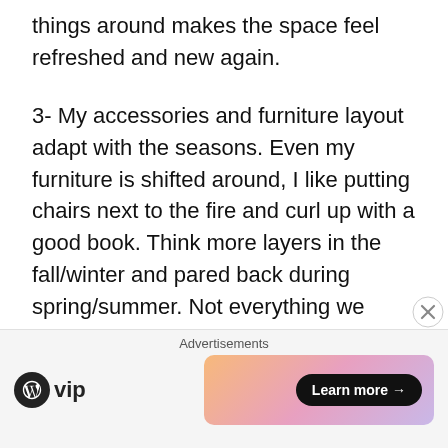things around makes the space feel refreshed and new again.
3- My accessories and furniture layout adapt with the seasons. Even my furniture is shifted around, I like putting chairs next to the fire and curl up with a good book. Think more layers in the fall/winter and pared back during spring/summer. Not everything we have has to be on display all of the time.
Making these simple changes doesn't cost a thing either. “Shopping” your home is the easiest and most cost effective way to make those changes
[Figure (other): Advertisement banner with WordPress VIP logo on the left and a colorful gradient banner with 'Learn more →' button on the right, labeled 'Advertisements']